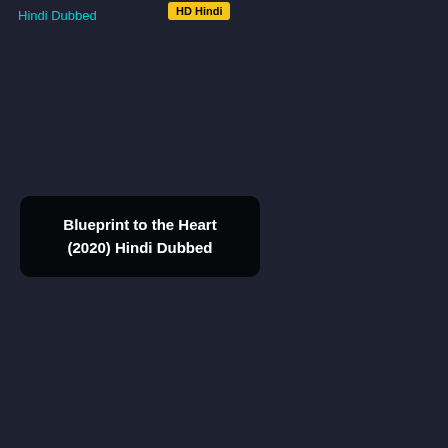Hindi Dubbed
[Figure (other): Yellow badge/label with text 'HD Hindi']
Blueprint to the Heart (2020) Hindi Dubbed